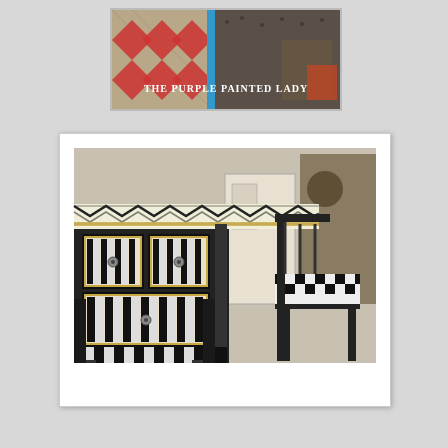[Figure (photo): A photo showing an antique/vintage setting with quilts and furniture, overlaid with the text 'THE PURPLE PAINTED LADY' in white serif font]
[Figure (photo): A painted black dresser/desk with chevron pattern on top and black-and-white stripe patterns on drawers with gold frames, paired with a matching painted chair with checkered seat, displayed in what appears to be a shop or studio]